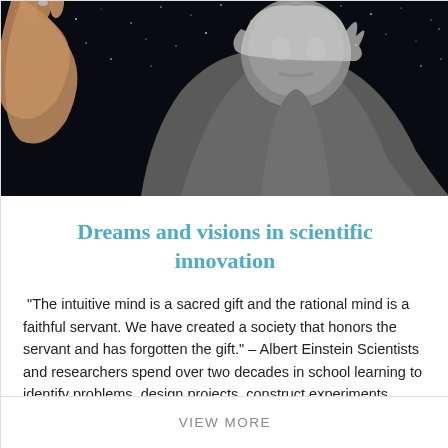[Figure (photo): Photograph of an elderly scientist (resembling Albert Einstein) holding up a glass vial against a starry night sky background. The figure is wearing a grey jacket. A hand is raised in the upper left portion of the image.]
Dreams and visions in scientific innovation
"The intuitive mind is a sacred gift and the rational mind is a faithful servant. We have created a society that honors the servant and has forgotten the gift." – Albert Einstein Scientists and researchers spend over two decades in school learning to identify problems, design projects, construct experiments, collect data, conduct literature reviews, calculate, [...]
VIEW MORE